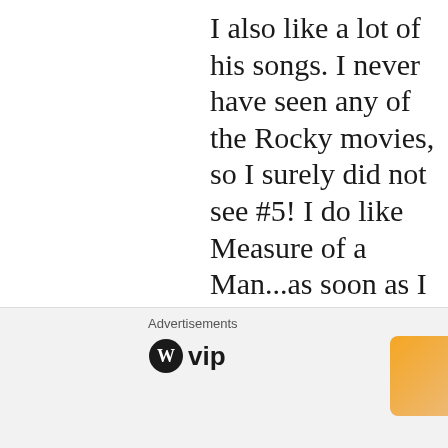I also like a lot of his songs. I never have seen any of the Rocky movies, so I surely did not see #5! I do like Measure of a Man...as soon as I saw the prompt measure, I thought that I remembered a song by that title. Crazy. I
[Figure (screenshot): Close button (X in circle) at bottom right of content area]
Advertisements
[Figure (logo): WordPress VIP logo with circular W icon and 'vip' text]
[Figure (infographic): Advertisement banner with gradient background (orange to pink/purple) and 'Learn more →' button]